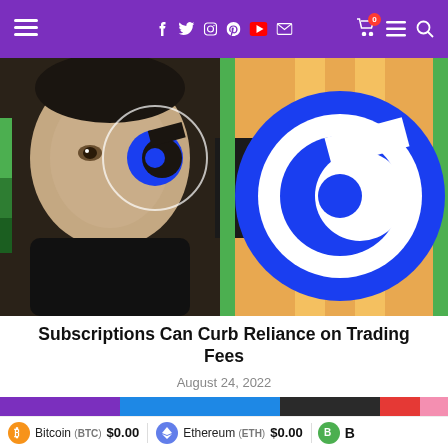Navigation bar with social icons and cart
[Figure (photo): Composite image showing a man's face on the left side with a blue Coinbase-style 'C' logo overlay, and a large blue Coinbase 3D logo disc on the right against an orange/striped background]
Subscriptions Can Curb Reliance on Trading Fees
August 24, 2022
[Figure (photo): Partial view of a second article's header image with purple, blue and red background colors]
Bitcoin (BTC) $0.00   Ethereum (ETH) $0.00   B